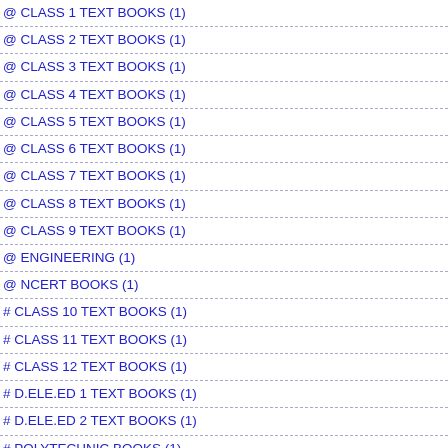@ CLASS 1 TEXT BOOKS (1)
@ CLASS 2 TEXT BOOKS (1)
@ CLASS 3 TEXT BOOKS (1)
@ CLASS 4 TEXT BOOKS (1)
@ CLASS 5 TEXT BOOKS (1)
@ CLASS 6 TEXT BOOKS (1)
@ CLASS 7 TEXT BOOKS (1)
@ CLASS 8 TEXT BOOKS (1)
@ CLASS 9 TEXT BOOKS (1)
@ ENGINEERING (1)
@ NCERT BOOKS (1)
# CLASS 10 TEXT BOOKS (1)
# CLASS 11 TEXT BOOKS (1)
# CLASS 12 TEXT BOOKS (1)
# D.ELE.ED 1 TEXT BOOKS (1)
# D.ELE.ED 2 TEXT BOOKS (1)
# POLYTECHNIC BOOKS (1)
AANMEEGAMALAR (1)